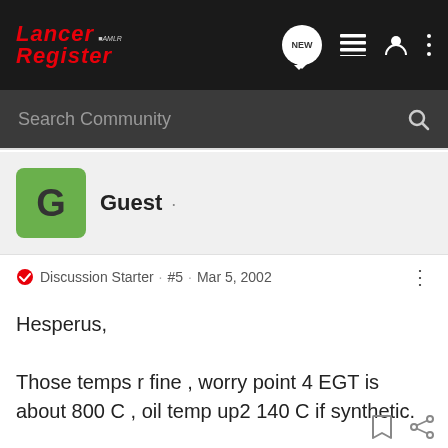Lancer Register · Search Community
Guest ·
Discussion Starter · #5 · Mar 5, 2002
Hesperus,

Those temps r fine , worry point 4 EGT is about 800 C , oil temp up2 140 C if synthetic.